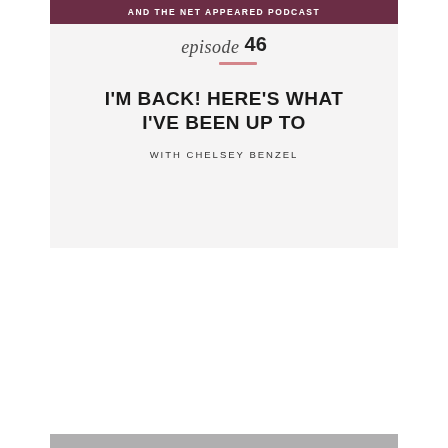AND THE NET APPEARED PODCAST
I'M BACK! HERE'S WHAT I'VE BEEN UP TO
episode 46
WITH CHELSEY BENZEL